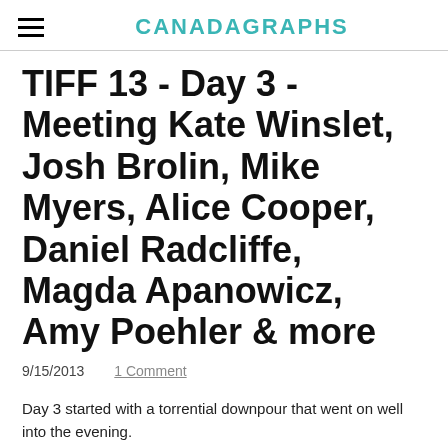CANADAGRAPHS
TIFF 13 - Day 3 - Meeting Kate Winslet, Josh Brolin, Mike Myers, Alice Cooper, Daniel Radcliffe, Magda Apanowicz, Amy Poehler & more
9/15/2013    1 Comment
Day 3 started with a torrential downpour that went on well into the evening.
Of course, the 1st premiere of the day "Supermensch" had to be at Roy Thompson Hall, a big, long red